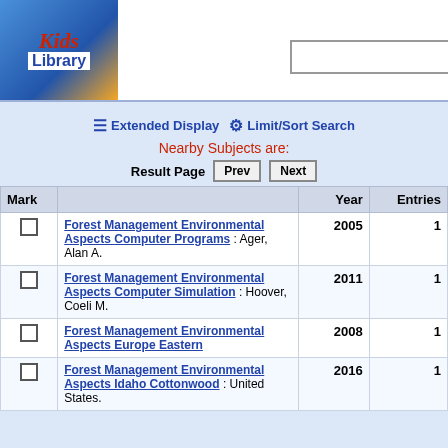[Figure (logo): Kids Library logo with colorful book illustration]
Available items only
Extended Display   Limit/Sort Search
Nearby Subjects are:
Result Page   Prev   Next
| Mark |  | Year | Entries |
| --- | --- | --- | --- |
| ☐ | Forest Management Environmental Aspects Computer Programs : Ager, Alan A. | 2005 | 1 |
| ☐ | Forest Management Environmental Aspects Computer Simulation : Hoover, Coeli M. | 2011 | 1 |
| ☐ | Forest Management Environmental Aspects Europe Eastern | 2008 | 1 |
| ☐ | Forest Management Environmental Aspects Idaho Cottonwood : United States. | 2016 | 1 |